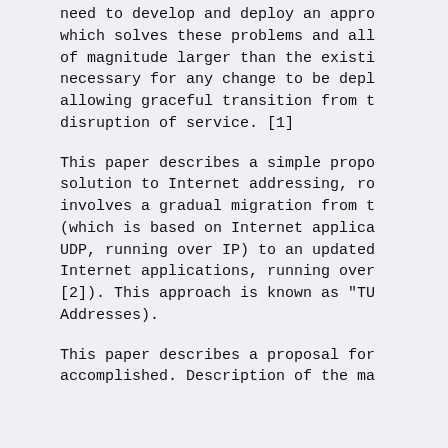need to develop and deploy an appro which solves these problems and all of magnitude larger than the existi necessary for any change to be depl allowing graceful transition from t disruption of service. [1]
This paper describes a simple propo solution to Internet addressing, ro involves a gradual migration from t (which is based on Internet applica UDP, running over IP) to an updated Internet applications, running over [2]). This approach is known as "TU Addresses).
This paper describes a proposal for accomplished. Description of the ma